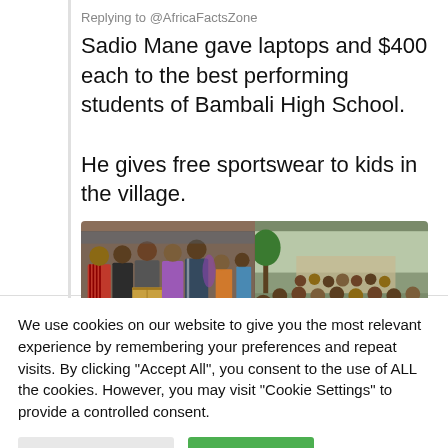Replying to @AfricaFactsZone
Sadio Mane gave laptops and $400 each to the best performing students of Bambali High School.

He gives free sportswear to kids in the village.
[Figure (photo): Two side-by-side photos: left shows a group of people indoors with boxes, right shows a large crowd of children outdoors.]
We use cookies on our website to give you the most relevant experience by remembering your preferences and repeat visits. By clicking “Accept All”, you consent to the use of ALL the cookies. However, you may visit "Cookie Settings" to provide a controlled consent.